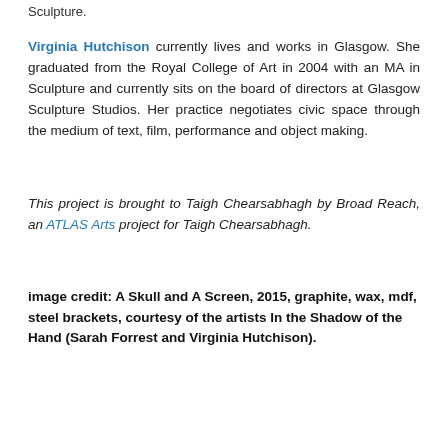Sculpture.
Virginia Hutchison currently lives and works in Glasgow. She graduated from the Royal College of Art in 2004 with an MA in Sculpture and currently sits on the board of directors at Glasgow Sculpture Studios. Her practice negotiates civic space through the medium of text, film, performance and object making.
This project is brought to Taigh Chearsabhagh by Broad Reach, an ATLAS Arts project for Taigh Chearsabhagh.
image credit: A Skull and A Screen, 2015, graphite, wax, mdf, steel brackets, courtesy of the artists In the Shadow of the Hand (Sarah Forrest and Virginia Hutchison).